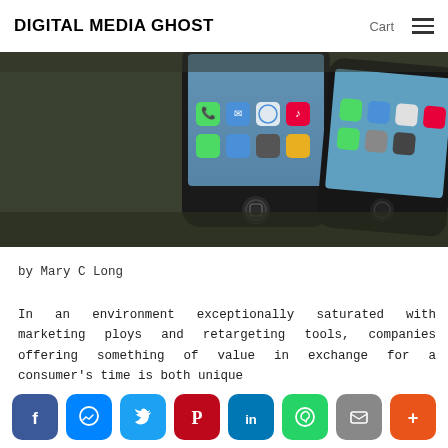DIGITAL MEDIA GHOST   Cart ≡
[Figure (photo): Two black smartphones side by side on a dark olive/green surface, showing iOS app icons on their screens including Phone, Mail, Safari, Music, and others.]
by Mary C Long
In an environment exceptionally saturated with marketing ploys and retargeting tools, companies offering something of value in exchange for a consumer's time is both unique
Facebook | Messenger | Twitter | Pinterest | LinkedIn | WhatsApp | Email | More